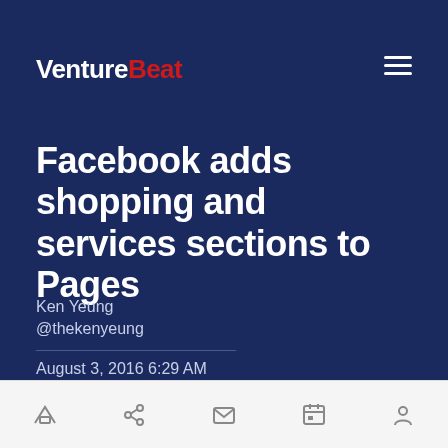VentureBeat
Facebook adds shopping and services sections to Pages
Ken Yeung
@thekenyeung
August 3, 2016 6:29 AM